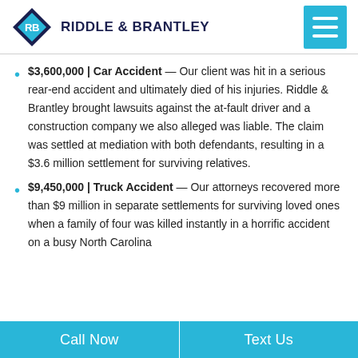[Figure (logo): Riddle & Brantley law firm logo with diamond RB icon and firm name]
$3,600,000 | Car Accident — Our client was hit in a serious rear-end accident and ultimately died of his injuries. Riddle & Brantley brought lawsuits against the at-fault driver and a construction company we also alleged was liable. The claim was settled at mediation with both defendants, resulting in a $3.6 million settlement for surviving relatives.
$9,450,000 | Truck Accident — Our attorneys recovered more than $9 million in separate settlements for surviving loved ones when a family of four was killed instantly in a horrific accident on a busy North Carolina
Call Now   Text Us